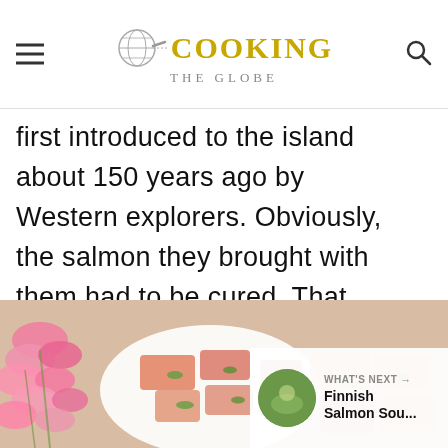COOKING THE GLOBE
first introduced to the island about 150 years ago by Western explorers. Obviously, the salmon they brought with them had to be cured. That explains the popularity of it in this sunshine state!
[Figure (photo): Food photo showing a salmon dish with pink flowers on the left and chopped salmon with greens on the right. A 'WHAT'S NEXT' overlay in the bottom right shows a thumbnail and text 'Finnish Salmon Sou...']